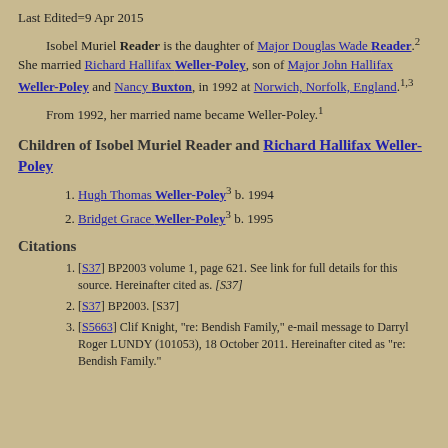Last Edited=9 Apr 2015
Isobel Muriel Reader is the daughter of Major Douglas Wade Reader.[2] She married Richard Hallifax Weller-Poley, son of Major John Hallifax Weller-Poley and Nancy Buxton, in 1992 at Norwich, Norfolk, England.[1,3]
From 1992, her married name became Weller-Poley.[1]
Children of Isobel Muriel Reader and Richard Hallifax Weller-Poley
Hugh Thomas Weller-Poley[3] b. 1994
Bridget Grace Weller-Poley[3] b. 1995
Citations
[S37] BP2003 volume 1, page 621. See link for full details for this source. Hereinafter cited as. [S37]
[S37] BP2003. [S37]
[S5663] Clif Knight, "re: Bendish Family," e-mail message to Darryl Roger LUNDY (101053), 18 October 2011. Hereinafter cited as "re: Bendish Family."